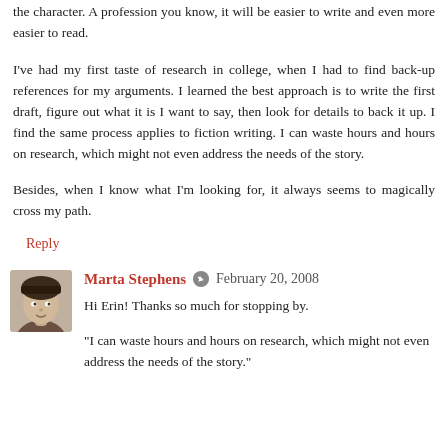the character. A profession you know, it will be easier to write and even more easier to read.
I've had my first taste of research in college, when I had to find back-up references for my arguments. I learned the best approach is to write the first draft, figure out what it is I want to say, then look for details to back it up. I find the same process applies to fiction writing. I can waste hours and hours on research, which might not even address the needs of the story.
Besides, when I know what I'm looking for, it always seems to magically cross my path.
Reply
Marta Stephens  February 20, 2008
Hi Erin! Thanks so much for stopping by.
"I can waste hours and hours on research, which might not even address the needs of the story."